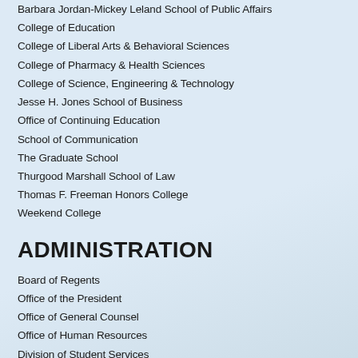Barbara Jordan-Mickey Leland School of Public Affairs
College of Education
College of Liberal Arts & Behavioral Sciences
College of Pharmacy & Health Sciences
College of Science, Engineering & Technology
Jesse H. Jones School of Business
Office of Continuing Education
School of Communication
The Graduate School
Thurgood Marshall School of Law
Thomas F. Freeman Honors College
Weekend College
ADMINISTRATION
Board of Regents
Office of the President
Office of General Counsel
Office of Human Resources
Division of Student Services
Department of Public Safety
Office of Information Technology